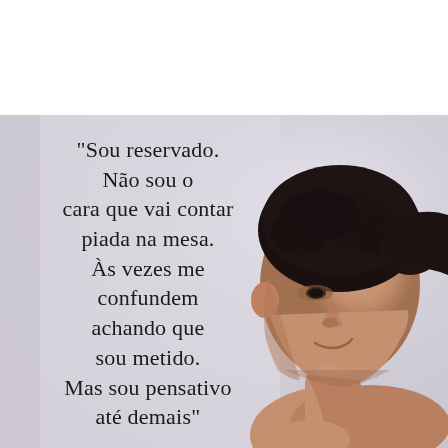[Figure (photo): A young man with dark curly hair photographed in profile/three-quarter view against a light lavender-gray background. He is shirtless, looking to the right with a thoughtful expression. The photo occupies the lower two-thirds of the page.]
“Sou reservado. Não sou o cara que vai contar piada na mesa. Às vezes me confundem achando que sou metido. Mas sou pensativo até demais”